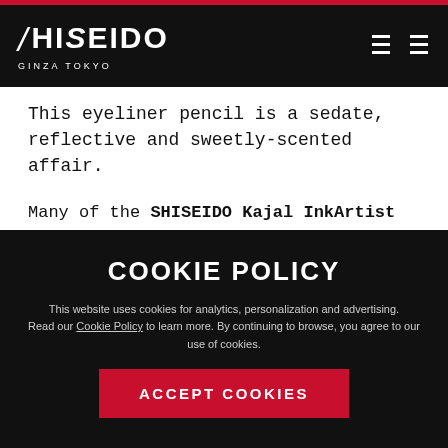SHISEIDO GINZA TOKYO
This eyeliner pencil is a sedate, reflective and sweetly-scented affair.
Many of the SHISEIDO Kajal InkArtist shades, such as Azuki Red, have their roots in Japan's fascinating and complex color system. These traditional colors originated in the Twelve Level Cap and Rank System, created in 603 by Prince Shōtoku to represent social hierarchy.
COOKIE POLICY
This website uses cookies for analytics, personalization and advertising. Read our Cookie Policy to learn more. By continuing to browse, you agree to our use of cookies.
ACCEPT COOKIES